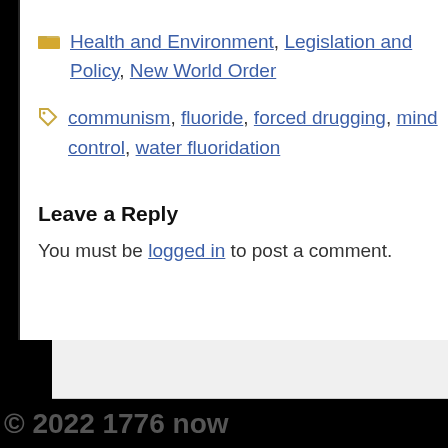Health and Environment, Legislation and Policy, New World Order
communism, fluoride, forced drugging, mind control, water fluoridation
Leave a Reply
You must be logged in to post a comment.
© 2022 1776 now